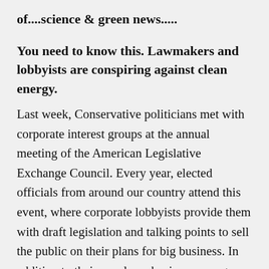of....science & green news.....
You need to know this. Lawmakers and lobbyists are conspiring against clean energy.
Last week, Conservative politicians met with corporate interest groups at the annual meeting of the American Legislative Exchange Council. Every year, elected officials from around our country attend this event, where corporate lobbyists provide them with draft legislation and talking points to sell the public on their plans for big business. In addition to their usual pro-business, pro-gun, anti-worker topics, this